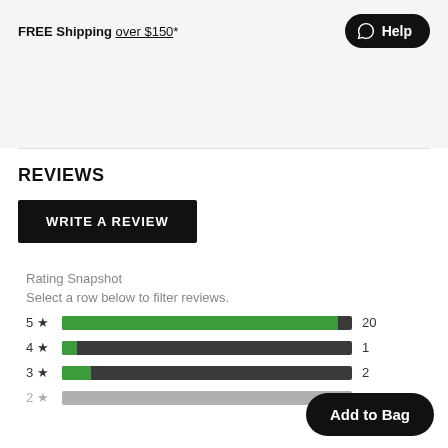FREE Shipping over $150*
Help
REVIEWS
WRITE A REVIEW
Rating Snapshot
Select a row below to filter reviews.
[Figure (bar-chart): Rating Snapshot]
Add to Bag